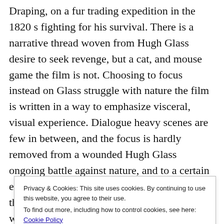Draping, on a fur trading expedition in the 1820 s fighting for his survival. There is a narrative thread woven from Hugh Glass desire to seek revenge, but a cat, and mouse game the film is not. Choosing to focus instead on Glass struggle with nature the film is written in a way to emphasize visceral, visual experience. Dialogue heavy scenes are few in between, and the focus is hardly removed from a wounded Hugh Glass ongoing battle against nature, and to a certain extent his fellow men. Spending around a third of the film with Hugh Glass alone without monologuing on anything associated with himself. Opting to show Hugh Glass as much possible with his wounded body to carry on forward. Only hearing the sounds of the environment (the cold wind blowing, waterfalls) to create a sense of desolate. Expressing his pain in a series of g t i c f
Privacy & Cookies: This site uses cookies. By continuing to use this website, you agree to their use.
To find out more, including how to control cookies, see here: Cookie Policy
Close and accept